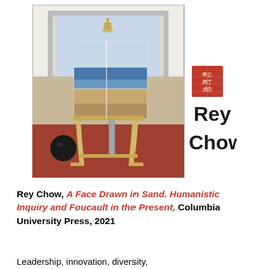[Figure (illustration): Book cover of Rey Chow's 'A Face Drawn in Sand'. Shows a painting of an easel with a canvas depicting a beach/ocean scene, set in a room with an arched window. A black sphere sits on the red floor. To the right of the painting is a red Chinese seal stamp and the author name 'Rey Chow' in large black text.]
Rey Chow, A Face Drawn in Sand. Humanistic Inquiry and Foucault in the Present, Columbia University Press, 2021
Leadership, innovation, diversity,